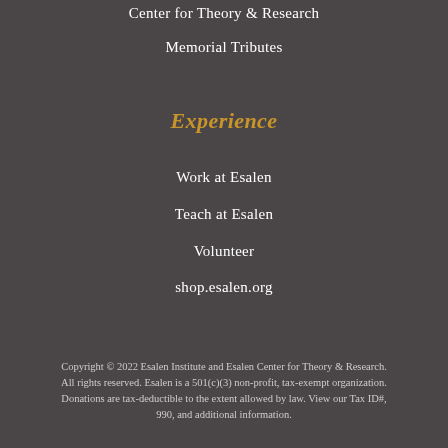Center for Theory & Research
Memorial Tributes
Experience
Work at Esalen
Teach at Esalen
Volunteer
shop.esalen.org
Copyright © 2022 Esalen Institute and Esalen Center for Theory & Research. All rights reserved. Esalen is a 501(c)(3) non-profit, tax-exempt organization. Donations are tax-deductible to the extent allowed by law. View our Tax ID#, 990, and additional information.